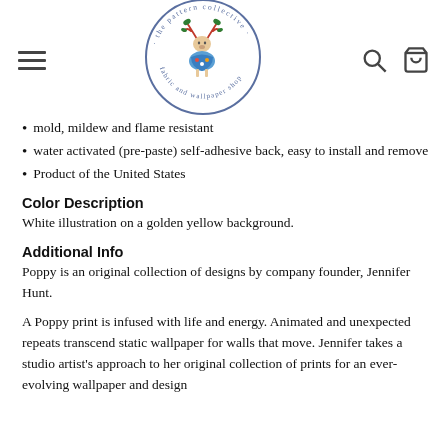[Figure (logo): Circular logo for 'the pattern collective fabric and wallpaper shop' featuring an illustrated deer with floral antlers in the center, surrounded by the shop name text in a circular border.]
mold, mildew and flame resistant
water activated (pre-paste) self-adhesive back, easy to install and remove
Product of the United States
Color Description
White illustration on a golden yellow background.
Additional Info
Poppy is an original collection of designs by company founder, Jennifer Hunt.
A Poppy print is infused with life and energy. Animated and unexpected repeats transcend static wallpaper for walls that move. Jennifer takes a studio artist's approach to her original collection of prints for an ever-evolving wallpaper and design